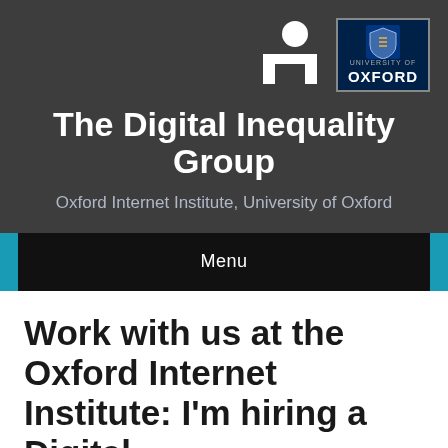[Figure (logo): OII logo (white abstract figure/desk icon on dark background) and University of Oxford logo (shield crest with 'UNIVERSITY OF OXFORD' text on dark blue background)]
The Digital Inequality Group
Oxford Internet Institute, University of Oxford
Menu
Work with us at the Oxford Internet Institute: I'm hiring a Digital